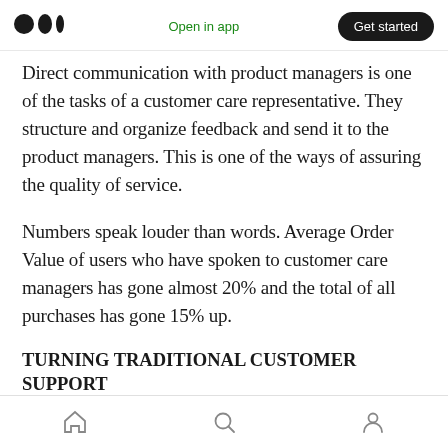Medium logo | Open in app | Get started
Direct communication with product managers is one of the tasks of a customer care representative. They structure and organize feedback and send it to the product managers. This is one of the ways of assuring the quality of service.
Numbers speak louder than words. Average Order Value of users who have spoken to customer care managers has gone almost 20% and the total of all purchases has gone 15% up.
TURNING TRADITIONAL CUSTOMER SUPPORT
Home | Search | Profile